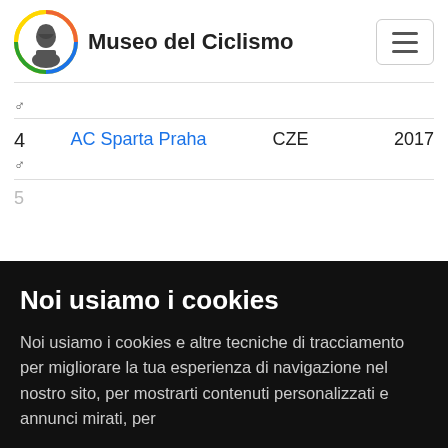Museo del Ciclismo
| # |  | Team | Country | Year |
| --- | --- | --- | --- | --- |
|  | ♂ |  |  |  |
| 4 | ♂ | AC Sparta Praha | CZE | 2017 |
Noi usiamo i cookies
Noi usiamo i cookies e altre tecniche di tracciamento per migliorare la tua esperienza di navigazione nel nostro sito, per mostrarti contenuti personalizzati e annunci mirati, per